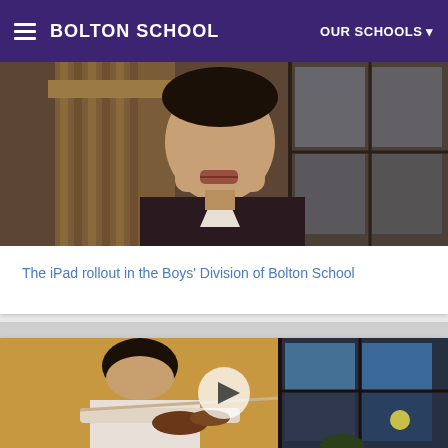BOLTON SCHOOL
[Figure (photo): Screenshot of Bolton School website showing a boy in a dark blazer seated at a wooden chair, partial face visible, with a video thumbnail for 'The iPad rollout in the Boys' Division of Bolton School']
The iPad rollout in the Boys' Division of Bolton School
[Figure (photo): Screenshot of a video thumbnail showing a student playing the violin in a warmly-lit room with windows, with a play button overlay in the center]